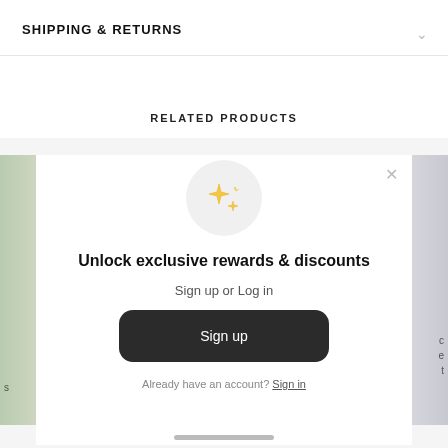SHIPPING & RETURNS
RELATED PRODUCTS
[Figure (screenshot): Sparkle emoji stars icon inside a light gray circle]
Unlock exclusive rewards & discounts
Sign up or Log in
Sign up
Already have an account? Sign in